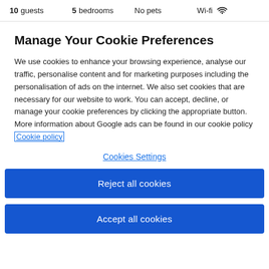10 guests   5 bedrooms   No pets   Wi-fi
Manage Your Cookie Preferences
We use cookies to enhance your browsing experience, analyse our traffic, personalise content and for marketing purposes including the personalisation of ads on the internet. We also set cookies that are necessary for our website to work. You can accept, decline, or manage your cookie preferences by clicking the appropriate button. More information about Google ads can be found in our cookie policy Cookie policy
Cookies Settings
Reject all cookies
Accept all cookies